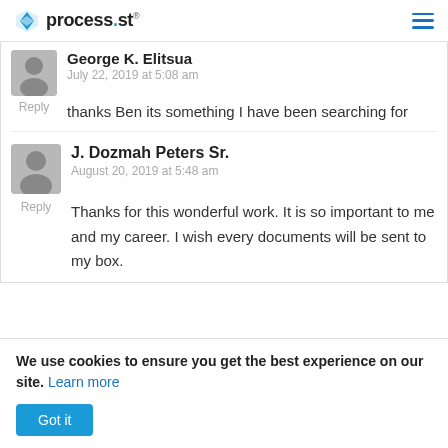process.st
George K. Elitsua
July 22, 2019 at 5:08 am
Reply
thanks Ben its something I have been searching for
J. Dozmah Peters Sr.
August 20, 2019 at 5:48 am
Reply
Thanks for this wonderful work. It is so important to me and my career. I wish every documents will be sent to my box.
We use cookies to ensure you get the best experience on our site. Learn more
Got it